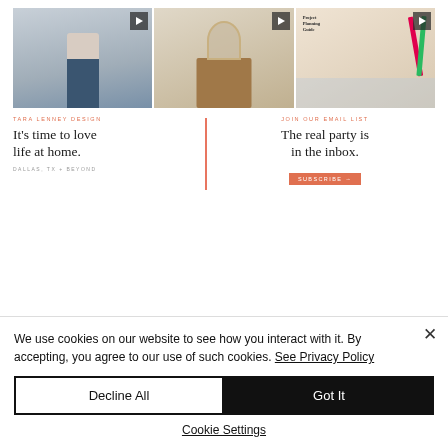[Figure (screenshot): Three video thumbnails in a row: a woman in jeans, a wooden dresser with mirror, and a Project Planning Guide book cover with colored pencils]
TARA LENNEY DESIGN
It's time to love life at home.
DALLAS, TX + BEYOND
JOIN OUR EMAIL LIST
The real party is in the inbox.
SUBSCRIBE →
We use cookies on our website to see how you interact with it. By accepting, you agree to our use of such cookies. See Privacy Policy
Decline All
Got It
Cookie Settings